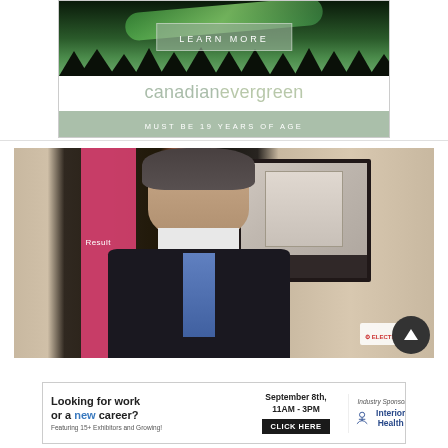[Figure (photo): Canadian Evergreen advertisement banner with aurora borealis and forest imagery, showing 'LEARN MORE' button, 'canadianevergreen' logo text, and 'MUST BE 19 YEARS OF AGE' disclaimer]
[Figure (photo): Photo of a man in a dark suit speaking at a podium or press event, with a pink banner showing 'Result' text partially visible, and an Elections BC logo in the background]
[Figure (photo): Advertisement banner: 'Looking for work or a new career? Featuring 15+ Exhibitors and Growing!' with September 8th, 11AM-3PM date, CLICK HERE button, and Interior Health industry sponsor logo]